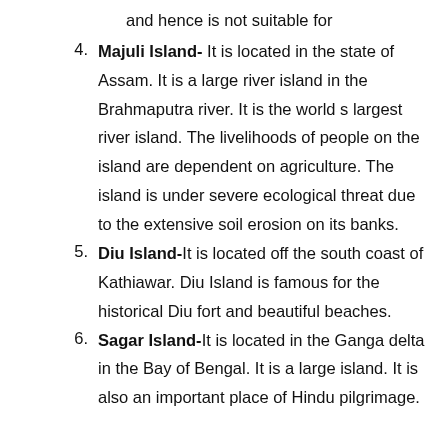and hence is not suitable for
Majuli Island- It is located in the state of Assam. It is a large river island in the Brahmaputra river. It is the world s largest river island. The livelihoods of people on the island are dependent on agriculture. The island is under severe ecological threat due to the extensive soil erosion on its banks.
Diu Island-It is located off the south coast of Kathiawar. Diu Island is famous for the historical Diu fort and beautiful beaches.
Sagar Island-It is located in the Ganga delta in the Bay of Bengal. It is a large island. It is also an important place of Hindu pilgrimage.